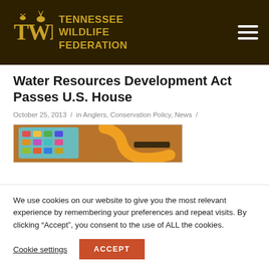TENNESSEE WILDLIFE FEDERATION
Water Resources Development Act Passes U.S. House
October 25, 2013 / in Anglers, Conservation Policy, News /
[Figure (photo): Photo of fishing tackle/lures and a yellow hose or fishing rod handle on a wooden surface.]
We use cookies on our website to give you the most relevant experience by remembering your preferences and repeat visits. By clicking “Accept”, you consent to the use of ALL the cookies.
Cookie settings  ACCEPT